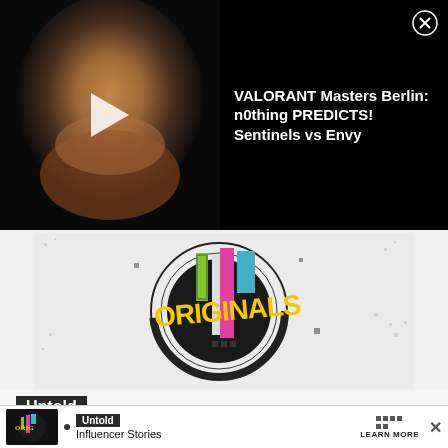[Figure (screenshot): Video thumbnail showing a man with a red beard on dark background with play button overlay]
VALORANT Masters Berlin: n0thing PREDICTS! Sentinels vs Envy
[Figure (logo): Originals logo - circular design with colorful bars (green, pink, blue) and yellow graffiti-style text 'ORIGINALS' on dark circle with geometric elements]
Untold
Influencer Stories
[Figure (screenshot): Bottom ad banner with Originals mini logo, Untold badge, Influencer Stories text, and LEARN MORE button with X close button]